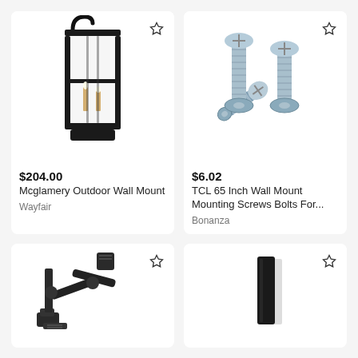[Figure (photo): Outdoor wall mount lantern light fixture in black metal with glass panels and visible candle bulbs inside]
$204.00
Mcglamery Outdoor Wall Mount
Wayfair
[Figure (photo): Three silver/zinc metallic pan-head screws with washers piled together on white background]
$6.02
TCL 65 Inch Wall Mount Mounting Screws Bolts For...
Bonanza
[Figure (photo): Black dual-arm monitor desk mount bracket with VESA mounting plate, adjustable articulating arm]
[Figure (photo): Black rectangular wall mount bracket or post accessory on white background]